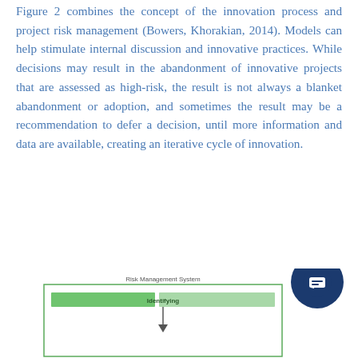Figure 2 combines the concept of the innovation process and project risk management (Bowers, Khorakian, 2014). Models can help stimulate internal discussion and innovative practices. While decisions may result in the abandonment of innovative projects that are assessed as high-risk, the result is not always a blanket abandonment or adoption, and sometimes the result may be a recommendation to defer a decision, until more information and data are available, creating an iterative cycle of innovation.
[Figure (flowchart): Bottom portion of a Risk Management System diagram showing a green 'Identifying' bar and an arrow below it, partially visible at the bottom of the page.]